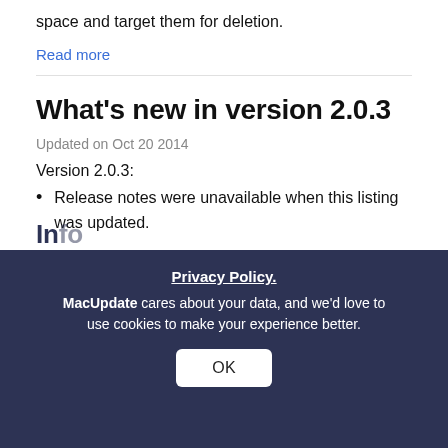space and target them for deletion.
Read more
What's new in version 2.0.3
Updated on Oct 20 2014
Version 2.0.3:
Release notes were unavailable when this listing was updated.
Read more
Info
Privacy Policy.
MacUpdate cares about your data, and we'd love to use cookies to make your experience better.
License
OK